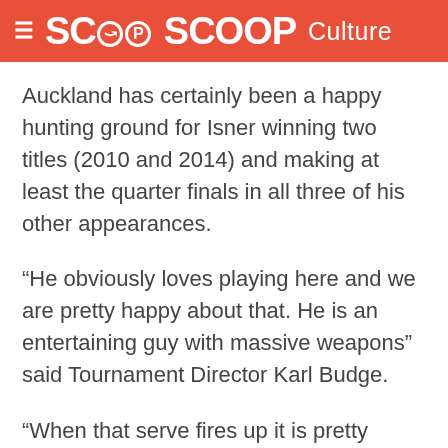SCOOP Culture
Auckland has certainly been a happy hunting ground for Isner winning two titles (2010 and 2014) and making at least the quarter finals in all three of his other appearances.
“He obviously loves playing here and we are pretty happy about that. He is an entertaining guy with massive weapons” said Tournament Director Karl Budge.
“When that serve fires up it is pretty impressive. We might throw down a challenge to see if he can crack 240kp/h this year. He has done it abroad before so